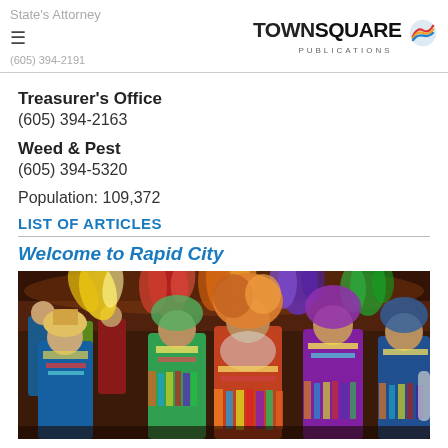State's Attorney
≡
(605) 394-2191
Treasurer's Office
(605) 394-2163
Weed & Pest
(605) 394-5320
Population: 109,372
LIST OF ARTICLES
Welcome to Rapid City
[Figure (photo): Photograph of Native American dancers in traditional regalia and headdresses at a powwow event inside an arena]